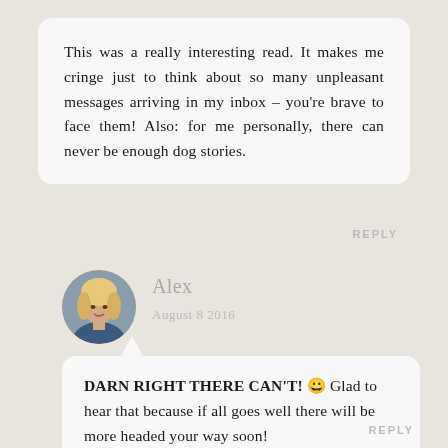This was a really interesting read. It makes me cringe just to think about so many unpleasant messages arriving in my inbox – you're brave to face them! Also: for me personally, there can never be enough dog stories.
REPLY
Alex
August 8 2016
[Figure (photo): Circular avatar photo of a blonde woman named Alex]
DARN RIGHT THERE CAN'T! 😀 Glad to hear that because if all goes well there will be more headed your way soon!
REPLY